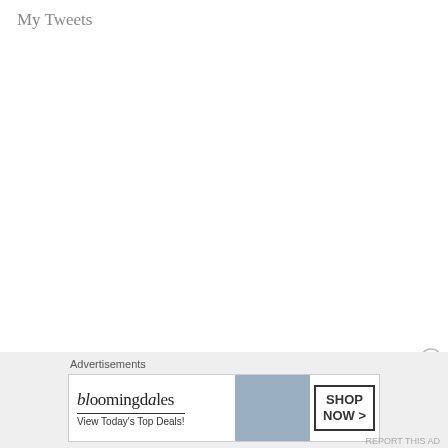My Tweets
Advertisements
[Figure (photo): Bloomingdale's banner advertisement showing a woman wearing a large navy blue hat, with text 'bloomingdales', 'View Today's Top Deals!' and a 'SHOP NOW >' button.]